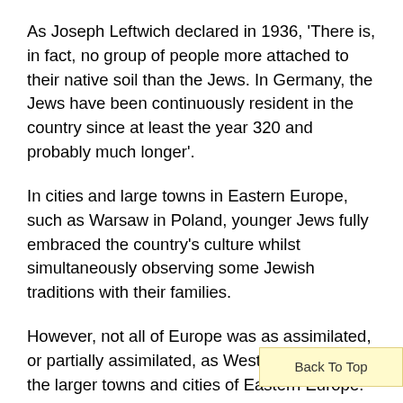As Joseph Leftwich declared in 1936, 'There is, in fact, no group of people more attached to their native soil than the Jews. In Germany, the Jews have been continuously resident in the country since at least the year 320 and probably much longer'.
In cities and large towns in Eastern Europe, such as Warsaw in Poland, younger Jews fully embraced the country's culture whilst simultaneously observing some Jewish traditions with their families.
However, not all of Europe was as assimilated, or partially assimilated, as Western Europe and the larger towns and cities of Eastern Europe.
For example, cultural separation was more apparent in rural areas of Eastern Europe, such as Poland and Russia. Here small towns or villages called comprised mainly of Jews. In Shtetls, people aimed to
Back To Top